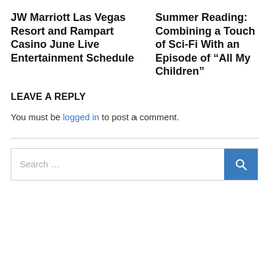JW Marriott Las Vegas Resort and Rampart Casino June Live Entertainment Schedule
Summer Reading: Combining a Touch of Sci-Fi With an Episode of “All My Children”
LEAVE A REPLY
You must be logged in to post a comment.
[Figure (other): Search bar with text 'Search ...' and a blue search button with magnifying glass icon]